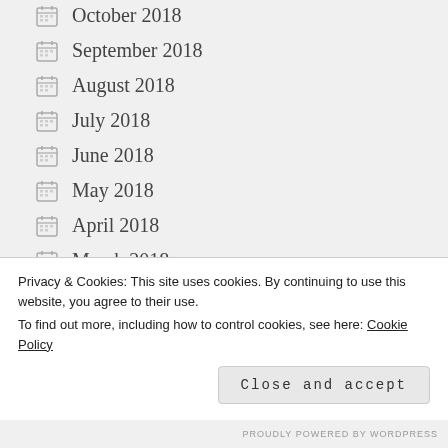October 2018
September 2018
August 2018
July 2018
June 2018
May 2018
April 2018
March 2018
February 2018
January 2018
Privacy & Cookies: This site uses cookies. By continuing to use this website, you agree to their use.
To find out more, including how to control cookies, see here: Cookie Policy
PROUDLY POWERED BY WORDPRESS